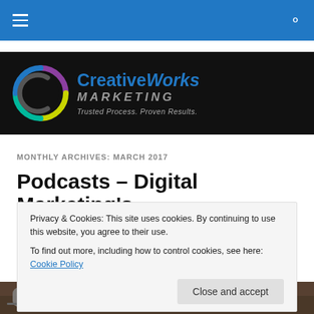Navigation bar with hamburger menu and search icon
[Figure (logo): CreativeWorks Marketing logo with circular icon and tagline 'Trusted Process. Proven Results.']
MONTHLY ARCHIVES: MARCH 2017
Podcasts – Digital Marketing's New Best Friend
Privacy & Cookies: This site uses cookies. By continuing to use this website, you agree to their use. To find out more, including how to control cookies, see here: Cookie Policy
Close and accept
[Figure (photo): Partial photo of a microphone, bottom of page]